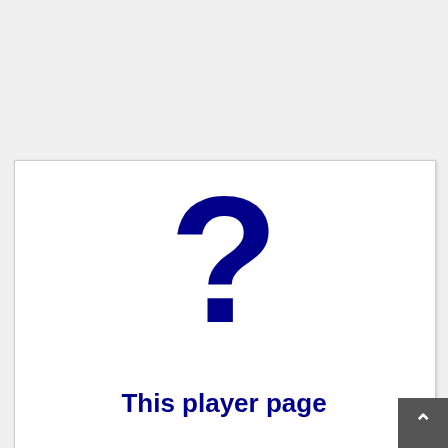[Figure (illustration): A large dark navy/dark blue question mark symbol centered in a white card with a light gray border, representing a missing player page image.]
This player page